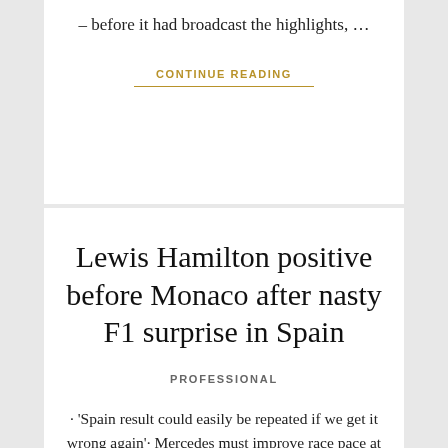– before it had broadcast the highlights, …
CONTINUE READING
Lewis Hamilton positive before Monaco after nasty F1 surprise in Spain
PROFESSIONAL
· 'Spain result could easily be repeated if we get it wrong again'· Mercedes must improve race pace at